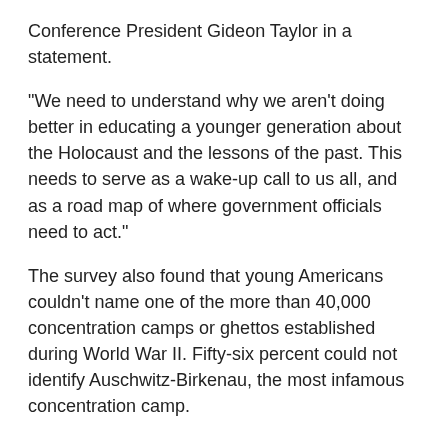Conference President Gideon Taylor in a statement.
"We need to understand why we aren't doing better in educating a younger generation about the Holocaust and the lessons of the past. This needs to serve as a wake-up call to us all, and as a road map of where government officials need to act."
The survey also found that young Americans couldn’t name one of the more than 40,000 concentration camps or ghettos established during World War II. Fifty-six percent could not identify Auschwitz-Birkenau, the most infamous concentration camp.
Nearly half of those surveyed said they’d seen Holocaust denial or distortion posts on social media or elsewhere online.